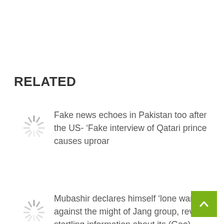RELATED
Fake news echoes in Pakistan too after the US- ‘Fake interview of Qatari prince causes uproar
Mubashir declares himself ‘lone warrior’ against the might of Jang group, reveals startling information about its (Geo) operations